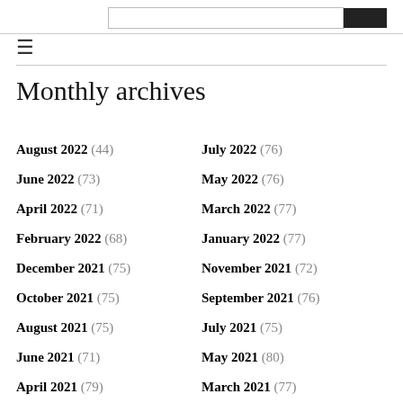≡
Monthly archives
August 2022 (44)
July 2022 (76)
June 2022 (73)
May 2022 (76)
April 2022 (71)
March 2022 (77)
February 2022 (68)
January 2022 (77)
December 2021 (75)
November 2021 (72)
October 2021 (75)
September 2021 (76)
August 2021 (75)
July 2021 (75)
June 2021 (71)
May 2021 (80)
April 2021 (79)
March 2021 (77)